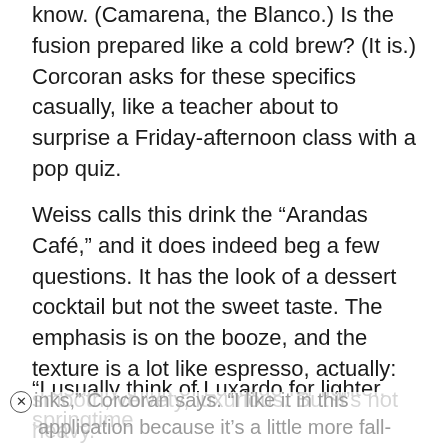know. (Camarena, the Blanco.) Is the fusion prepared like a cold brew? (It is.) Corcoran asks for these specifics casually, like a teacher about to surprise a Friday-afternoon class with a pop quiz.
Weiss calls this drink the “Arandas Café,” and it does indeed beg a few questions. It has the look of a dessert cocktail but not the sweet taste. The emphasis is on the booze, and the texture is a lot like espresso, actually: smooth, velvety, luxurious. But it’s not heavy.
“I usually think of Luxardo for lighter, springtime drinks,” Corcoran says. “I like it in this application because it’s a little more fall-